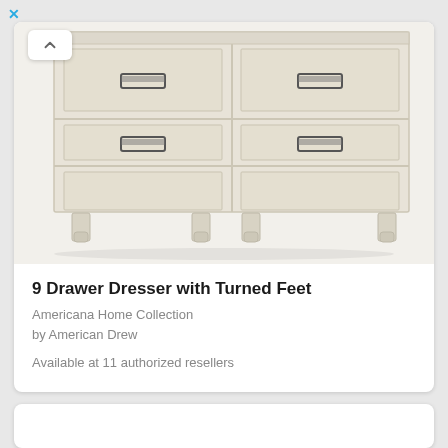[Figure (photo): Photo of a 9 drawer dresser with turned feet in a whitewashed/antique white finish, showing the lower portion with 4 visible drawers with dark metal handles, and turned feet at the bottom.]
9 Drawer Dresser with Turned Feet
Americana Home Collection
by American Drew
Available at 11 authorized resellers